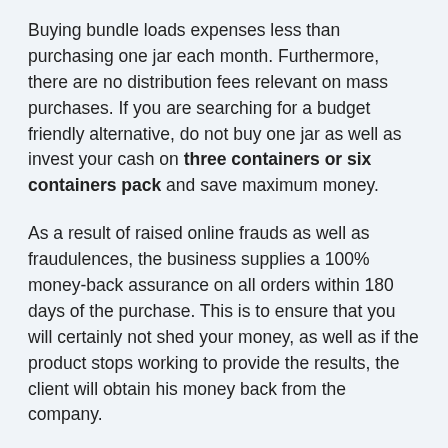Buying bundle loads expenses less than purchasing one jar each month. Furthermore, there are no distribution fees relevant on mass purchases. If you are searching for a budget friendly alternative, do not buy one jar as well as invest your cash on three containers or six containers pack and save maximum money.
As a result of raised online frauds as well as fraudulences, the business supplies a 100% money-back assurance on all orders within 180 days of the purchase. This is to ensure that you will certainly not shed your money, as well as if the product stops working to provide the results, the client will obtain his money back from the company.